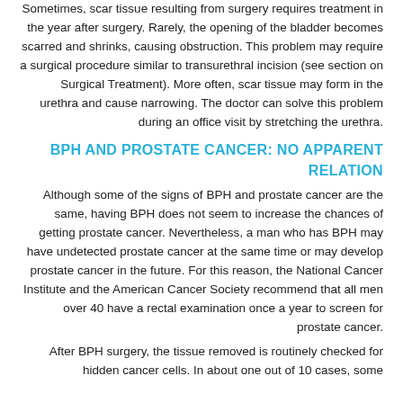Sometimes, scar tissue resulting from surgery requires treatment in the year after surgery. Rarely, the opening of the bladder becomes scarred and shrinks, causing obstruction. This problem may require a surgical procedure similar to transurethral incision (see section on Surgical Treatment). More often, scar tissue may form in the urethra and cause narrowing. The doctor can solve this problem during an office visit by stretching the urethra.
BPH AND PROSTATE CANCER: NO APPARENT RELATION
Although some of the signs of BPH and prostate cancer are the same, having BPH does not seem to increase the chances of getting prostate cancer. Nevertheless, a man who has BPH may have undetected prostate cancer at the same time or may develop prostate cancer in the future. For this reason, the National Cancer Institute and the American Cancer Society recommend that all men over 40 have a rectal examination once a year to screen for prostate cancer.
After BPH surgery, the tissue removed is routinely checked for hidden cancer cells. In about one out of 10 cases, some